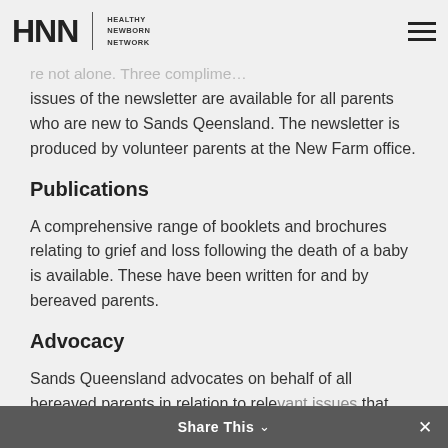HNN | HEALTHY NEWBORN NETWORK
issues of the newsletter are available for all parents who are new to Sands Qeensland. The newsletter is produced by volunteer parents at the New Farm office.
Publications
A comprehensive range of booklets and brochures relating to grief and loss following the death of a baby is available. These have been written for and by bereaved parents.
Advocacy
Sands Queensland advocates on behalf of all bereaved parents in relation to relevant issues that may arise. Examples include: the registration of babies born after 20
Share This ×